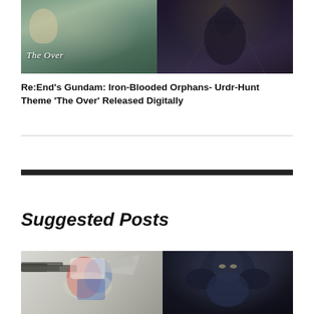[Figure (photo): Composite image showing anime characters from Gundam Iron-Blooded Orphans Urdr-Hunt. Left side shows a character with 'The Over' text overlay in serif italic font. Right side shows dark armored mecha/villain character.]
Re:End’s Gundam: Iron-Blooded Orphans- Urdr-Hunt Theme ‘The Over’ Released Digitally
Suggested Posts
[Figure (photo): Two images side by side. Left: A Gundam model/mecha figure in white, red, and blue colors holding a large gun/cannon. Right: Dark-themed armored character or mecha figure against a dark blue background.]